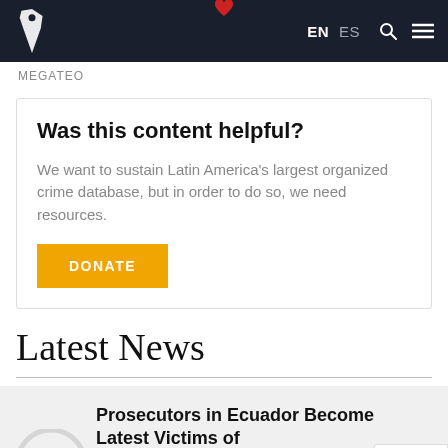EN  ES  [search] [menu]
MEGATEO
Was this content helpful?
We want to sustain Latin America's largest organized crime database, but in order to do so, we need resources.
DONATE
Latest News
Prosecutors in Ecuador Become Latest Victims of Targeted Assassination